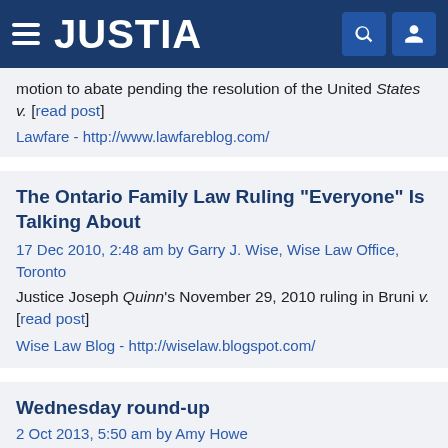[Figure (screenshot): Justia website header with hamburger menu, JUSTIA logo in white on dark blue background, search icon and user icon]
motion to abate pending the resolution of the United States v. [read post]
Lawfare - http://www.lawfareblog.com/
The Ontario Family Law Ruling "Everyone" Is Talking About
17 Dec 2010, 2:48 am by Garry J. Wise, Wise Law Office, Toronto
Justice Joseph Quinn's November 29, 2010 ruling in Bruni v. [read post]
Wise Law Blog - http://wiselaw.blogspot.com/
Wednesday round-up
2 Oct 2013, 5:50 am by Amy Howe